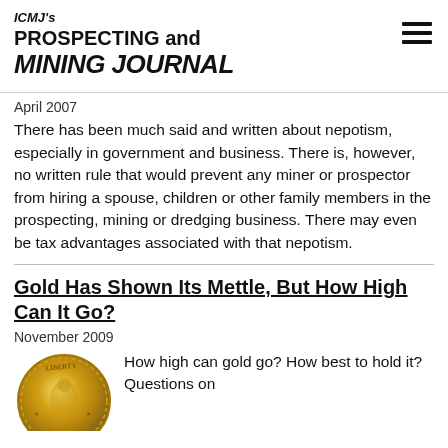ICMJ's PROSPECTING and MINING JOURNAL
April 2007
There has been much said and written about nepotism, especially in government and business. There is, however, no written rule that would prevent any miner or prospector from hiring a spouse, children or other family members in the prospecting, mining or dredging business. There may even be tax advantages associated with that nepotism.
Gold Has Shown Its Mettle, But How High Can It Go?
November 2009
[Figure (photo): Gold Liberty coin, partial view showing edge and face]
How high can gold go? How best to hold it? Questions on